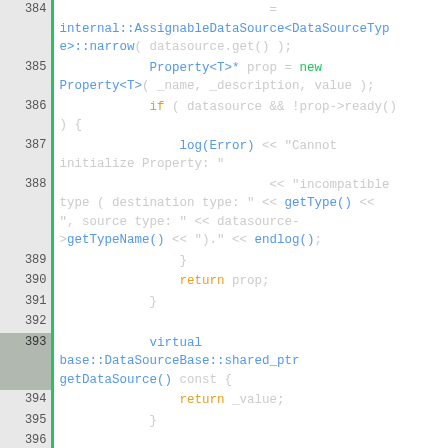[Figure (screenshot): Source code viewer showing C++ code lines 384-408 with syntax highlighting. Line numbers on left with green border, code on right. Keywords in orange, types/identifiers in blue, plain text in light gray.]